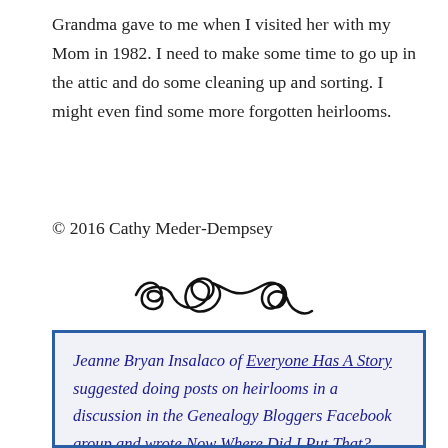Grandma gave to me when I visited her with my Mom in 1982. I need to make some time to go up in the attic and do some cleaning up and sorting. I might even find some more forgotten heirlooms.
© 2016 Cathy Meder-Dempsey
[Figure (illustration): Decorative curly swirl divider ornament in black]
Jeanne Bryan Insalaco of Everyone Has A Story suggested doing posts on heirlooms in a discussion in the Genealogy Bloggers Facebook group and wrote Now Where Did I Put That? Several bloggers have taken her up on the challenge to write about their heirlooms and we hope more will follow our